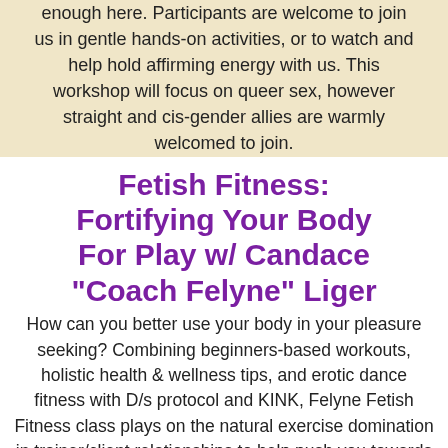enough here. Participants are welcome to join us in gentle hands-on activities, or to watch and help hold affirming energy with us. This workshop will focus on queer sex, however straight and cis-gender allies are warmly welcomed to join.
Fetish Fitness: Fortifying Your Body For Play w/ Candace "Coach Felyne" Liger
How can you better use your body in your pleasure seeking? Combining beginners-based workouts, holistic health & wellness tips, and erotic dance fitness with D/s protocol and KINK, Felyne Fetish Fitness class plays on the natural exercise domination in trainer/client relationships to help push you towards better overall health and pleasure. Our goal is to develop a deeper